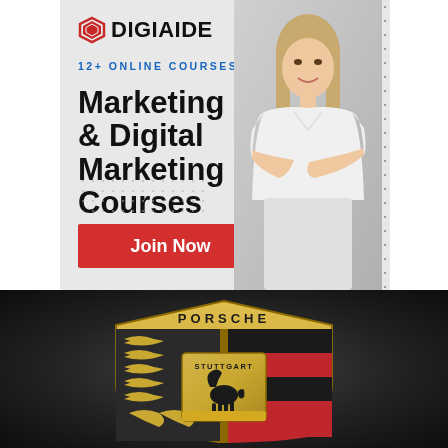[Figure (infographic): DigiAide advertisement banner showing a smiling woman with crossed arms. Text reads '12+ ONLINE COURSES' and 'Marketing & Digital Marketing Courses' with a red 'Join Now' button.]
[Figure (logo): Porsche crest/shield logo on dark background showing the Stuttgart horse, red and black stripes, and antlers, with 'PORSCHE' text across the top and 'STUTTGART' text in the center.]